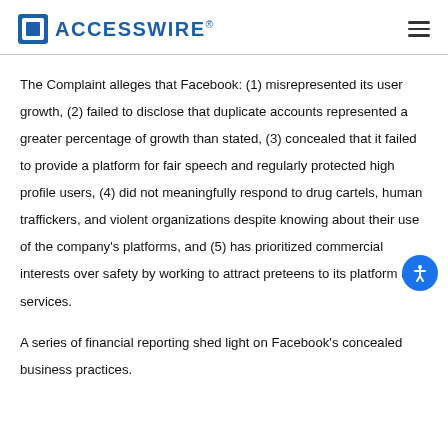ACCESSWIRE®
The Complaint alleges that Facebook: (1) misrepresented its user growth, (2) failed to disclose that duplicate accounts represented a greater percentage of growth than stated, (3) concealed that it failed to provide a platform for fair speech and regularly protected high profile users, (4) did not meaningfully respond to drug cartels, human traffickers, and violent organizations despite knowing about their use of the company's platforms, and (5) has prioritized commercial interests over safety by working to attract preteens to its platform and services.
A series of financial reporting shed light on Facebook's concealed business practices.